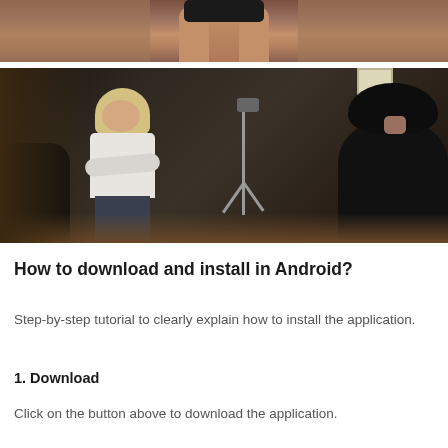[Figure (photo): Partial cropped photo at top, showing lower body of a figure in dark clothing against a warm-toned interior background.]
[Figure (photo): A 3D rendered scene showing two female characters in what appears to be a photography studio with a light stand/tripod and a bright window. One character is blonde with glasses wearing a white top and dark skirt, the other has dark hair and wears a black top, shown from behind.]
How to download and install in Android?
Step-by-step tutorial to clearly explain how to install the application.
1. Download
Click on the button above to download the application.